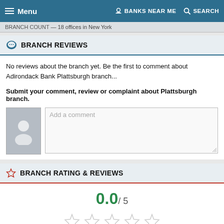Menu | BANKS NEAR ME | SEARCH
BRANCH COUNT — 18 offices in New York
BRANCH REVIEWS
No reviews about the branch yet. Be the first to comment about Adirondack Bank Plattsburgh branch...
Submit your comment, review or complaint about Plattsburgh branch.
[Figure (screenshot): User avatar placeholder (grey silhouette) and comment text area with placeholder text 'Add a comment']
BRANCH RATING & REVIEWS
0.0 / 5
[Figure (other): Five empty/outline star rating icons]
This branch has not been rated yet...